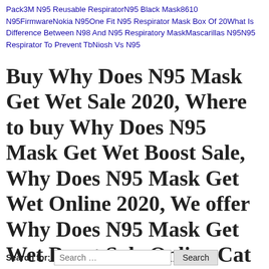Pack3M N95 Reusable RespiratorN95 Black Mask8610 N95FirmwareNokia N95One Fit N95 Respirator Mask Box Of 20What Is Difference Between N98 And N95 Respiratory MaskMascarillas N95N95 Respirator To Prevent TbNiosh Vs N95
Buy Why Does N95 Mask Get Wet Sale 2020, Where to buy Why Does N95 Mask Get Wet Boost Sale, Why Does N95 Mask Get Wet Online 2020, We offer Why Does N95 Mask Get Wet Boost Sale Online Cat Catches Coronavirus Quarantined For Two Weeks Fxstreet
Search for: Search ... Search